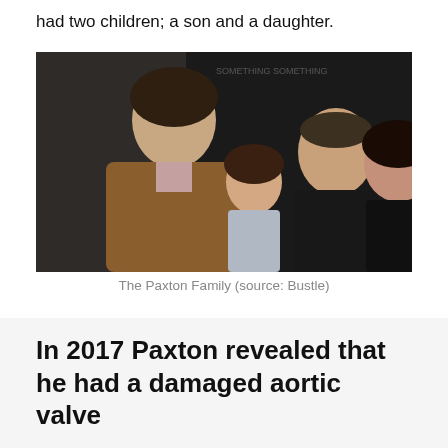had two children; a son and a daughter.
[Figure (photo): The Paxton Family — a young man in a brown jacket, a young girl, an older man in black, and a woman with dark hair, posing together at what appears to be a media event.]
The Paxton Family (source: Bustle)
In 2017 Paxton revealed that he had a damaged aortic valve